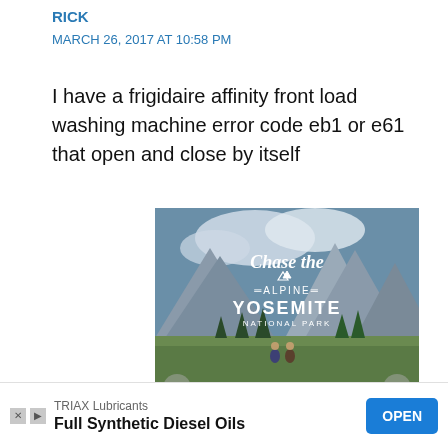RICK
MARCH 26, 2017 AT 10:58 PM
I have a frigidaire affinity front load washing machine error code eb1 or e61 that open and close by itself
[Figure (photo): Advertisement banner for Chase the Alpine – Yosemite National Park travel promotion, showing two hikers in a meadow with large granite cliffs in the background. Text overlay reads: Chase the Alpine, YOSEMITE NATIONAL PARK. Below: DISCOVER AMAZING TRAVEL SIDESTAGE.COM with left/right navigation arrows.]
[Figure (screenshot): Bottom mobile ad bar: TRIAX Lubricants – Full Synthetic Diesel Oils, with OPEN button in blue.]